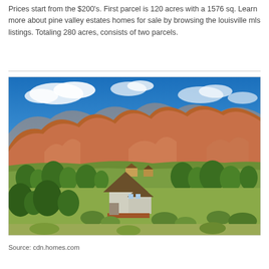Prices start from the $200's. First parcel is 120 acres with a 1576 sq. Learn more about pine valley estates homes for sale by browsing the louisville mls listings. Totaling 280 acres, consists of two parcels.
[Figure (photo): Aerial/landscape photo of a rural property with an A-frame house surrounded by desert shrubs and trees, with dramatic red rock canyon formations and a blue sky with clouds in the background. Several other structures visible mid-ground.]
Source: cdn.homes.com